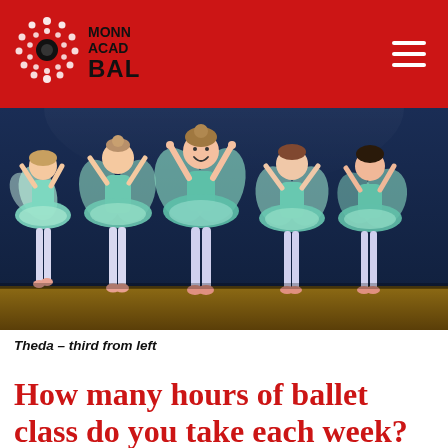MONN ACAD BAL (logo header with hamburger menu)
[Figure (photo): Five young girls in teal/mint fairy ballet costumes with feathered tutus and wings performing on a stage with dark blue curtains in the background. They are posed on pointe or relevé with arms raised.]
Theda – third from left
How many hours of ballet class do you take each week?